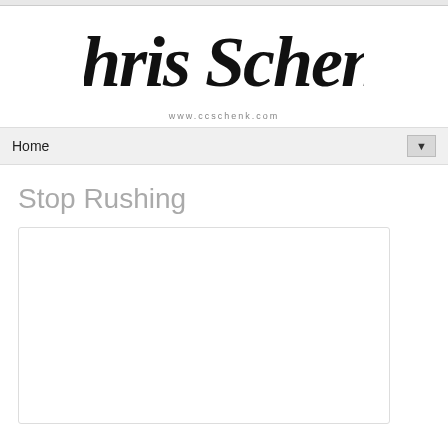[Figure (logo): Chris Schenk cursive signature logo with www.ccschenk.com below]
Home
Stop Rushing
[Figure (other): White content box with rounded border, empty content area]